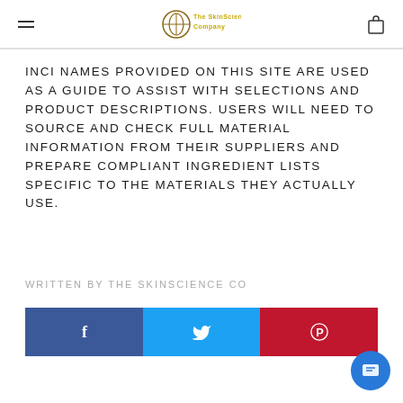The SkinScience Company
INCI NAMES PROVIDED ON THIS SITE ARE USED AS A GUIDE TO ASSIST WITH SELECTIONS AND PRODUCT DESCRIPTIONS. USERS WILL NEED TO SOURCE AND CHECK FULL MATERIAL INFORMATION FROM THEIR SUPPLIERS AND PREPARE COMPLIANT INGREDIENT LISTS SPECIFIC TO THE MATERIALS THEY ACTUALLY USE.
WRITTEN BY THE SKINSCIENCE CO
[Figure (infographic): Social media share buttons: Facebook (blue), Twitter (light blue), Pinterest (red), and a chat bubble button (blue circle)]